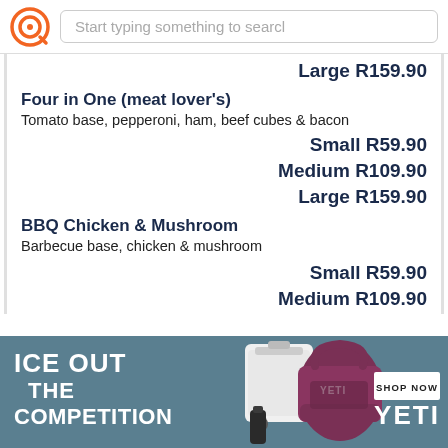Start typing something to search
Large R159.90
Four in One (meat lover's)
Tomato base, pepperoni, ham, beef cubes & bacon
Small R59.90
Medium R109.90
Large R159.90
BBQ Chicken & Mushroom
Barbecue base, chicken & mushroom
Small R59.90
Medium R109.90
[Figure (screenshot): Advertisement banner for YETI products. Shows 'ICE OUT THE COMPETITION' text on left, product images in center, 'SHOP NOW' button and 'YETI' brand name on right. Blue-grey background.]